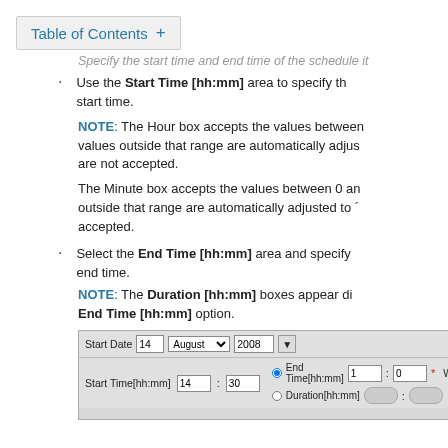Table of Contents +
Specify the start time and end time of the schedule it
Use the Start Time [hh:mm] area to specify the start time.
NOTE: The Hour box accepts the values between ... values outside that range are automatically adjusted ... are not accepted.
The Minute box accepts the values between 0 and ... outside that range are automatically adjusted to ... accepted.
Select the End Time [hh:mm] area and specify the end time.
NOTE: The Duration [hh:mm] boxes appear disabled when you select the End Time [hh:mm] option.
[Figure (screenshot): UI screenshot showing Start Date fields (14, August dropdown, 2008), Start Time[hh:mm] fields (14:30), End Time[hh:mm] radio with fields (1:0 with asterisk), Duration[hh:mm] radio with greyed fields (0:0).]